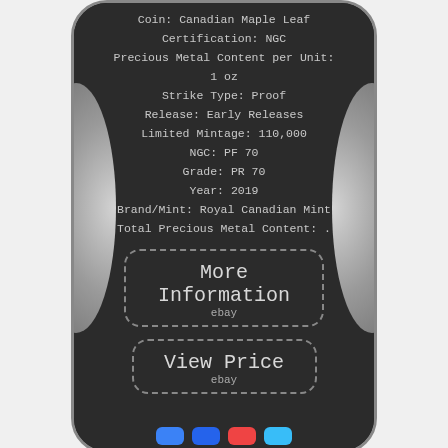Coin: Canadian Maple Leaf
Certification: NGC
Precious Metal Content per Unit:
1 oz
Strike Type: Proof
Release: Early Releases
Limited Mintage: 110,000
NGC: PF 70
Grade: PR 70
Year: 2019
Brand/Mint: Royal Canadian Mint
Total Precious Metal Content: .
More Information
ebay
View Price
ebay